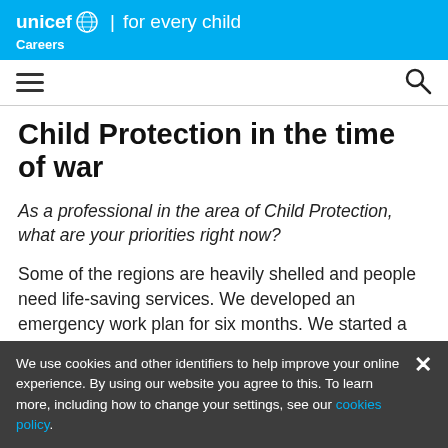unicef | for every child — Careers
Child Protection in the time of war
As a professional in the area of Child Protection, what are your priorities right now?
Some of the regions are heavily shelled and people need life-saving services. We developed an emergency work plan for six months. We started a lot of procurements, a lot of supplies, and we
We use cookies and other identifiers to help improve your online experience. By using our website you agree to this. To learn more, including how to change your settings, see our cookies policy.